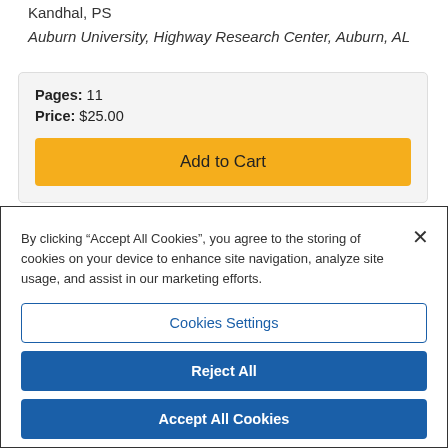Kandhal, PS
Auburn University, Highway Research Center, Auburn, AL
Pages: 11
Price: $25.00
Add to Cart
By clicking “Accept All Cookies”, you agree to the storing of cookies on your device to enhance site navigation, analyze site usage, and assist in our marketing efforts.
Cookies Settings
Reject All
Accept All Cookies